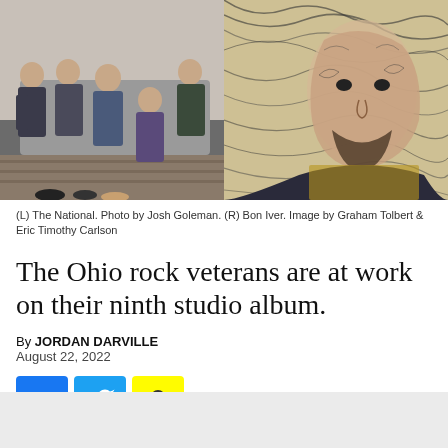[Figure (photo): Left: band photo of The National (5 members seated in a room). Right: artistic portrait of Bon Iver with illustrated/patterned overlay on face and background.]
(L) The National. Photo by Josh Goleman. (R) Bon Iver. Image by Graham Tolbert & Eric Timothy Carlson
The Ohio rock veterans are at work on their ninth studio album.
By JORDAN DARVILLE
August 22, 2022
[Figure (infographic): Social share buttons: Facebook (blue), Twitter (light blue), Snapchat (yellow)]